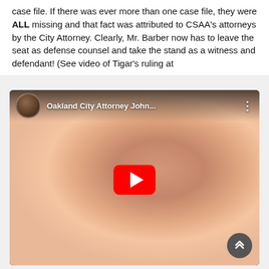case file. If there was ever more than one case file, they were ALL missing and that fact was attributed to CSAA's attorneys by the City Attorney. Clearly, Mr. Barber now has to leave the seat as defense counsel and take the stand as a witness and defendant! (See video of Tigar's ruling at
[Figure (screenshot): Embedded YouTube video thumbnail showing a close-up blurred face of an older man. The video top bar shows a circular avatar of a Black man in a suit on the left, the title 'Oakland City Attorney John...' in white text, and a three-dot menu icon on the right. A red YouTube play button is centered on the thumbnail. A dark scroll-up button is in the bottom right corner.]